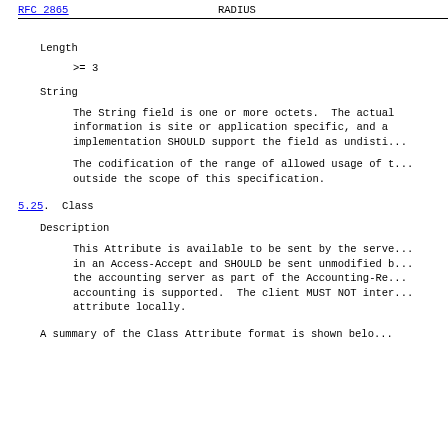RFC 2865    RADIUS
Length
>= 3
String
The String field is one or more octets.  The actual information is site or application specific, and a implementation SHOULD support the field as undisti...
The codification of the range of allowed usage of t... outside the scope of this specification.
5.25.  Class
Description
This Attribute is available to be sent by the serve... in an Access-Accept and SHOULD be sent unmodified b... the accounting server as part of the Accounting-Re... accounting is supported.  The client MUST NOT inter... attribute locally.
A summary of the Class Attribute format is shown belo...